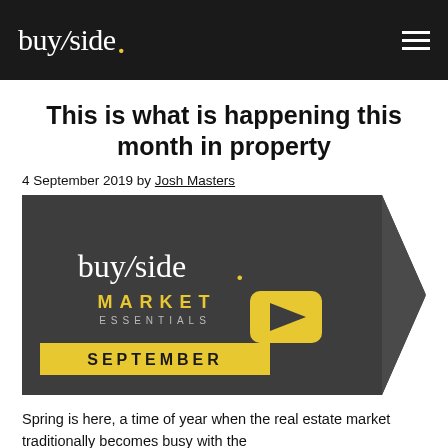buyside.
This is what is happening this month in property
4 September 2019 by Josh Masters
[Figure (illustration): Buyside Market Essentials September promotional image with logo, YouTube play button, and arrow shapes on dark grey background with yellow accents.]
Spring is here, a time of year when the real estate market traditionally becomes busy with the